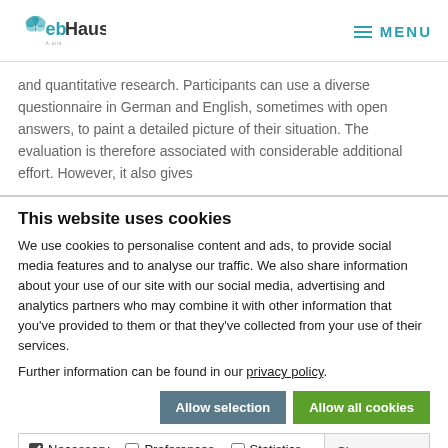eb Haus | MENU
and quantitative research. Participants can use a diverse questionnaire in German and English, sometimes with open answers, to paint a detailed picture of their situation. The evaluation is therefore associated with considerable additional effort. However, it also gives
This website uses cookies
We use cookies to personalise content and ads, to provide social media features and to analyse our traffic. We also share information about your use of our site with our social media, advertising and analytics partners who may combine it with other information that you've provided to them or that they've collected from your use of their services.
Further information can be found in our privacy policy.
Allow selection | Allow all cookies
Necessary | Preferences | Statistics | Marketing | Show details